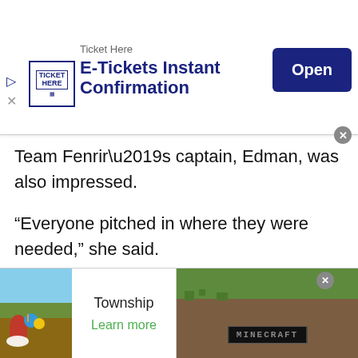[Figure (screenshot): Advertisement banner for Ticket Here - E-Tickets Instant Confirmation with Open button]
Team Fenrir’s captain, Edman, was also impressed.
“Everyone pitched in where they were needed,” she said.
Sunday, the final day of the competition, was where all their hard work came together. That morning, the teams returned to the tech lab to put final changes on their projects. After a quick workshop on professional presentations by an industry expert, teams went to work.
[Figure (screenshot): Bottom advertisement banners: Township game ad on left and Minecraft ad on right]